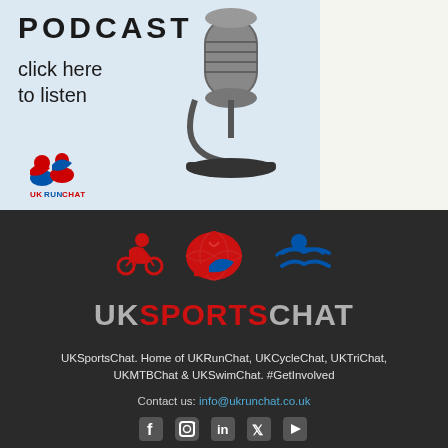[Figure (illustration): Podcast banner image with microphone, showing 'PODCAST click here to listen' text and UKRunChat logo]
[Figure (logo): UKSportsChat logo with cycling, running, and swimming icons in red and blue]
UKSportsChat. Home of UKRunChat, UKCycleChat, UKTriChat, UKMTBChat & UKSwimChat. #GetInvolved
Contact us: info@ukrunchat.co.uk
[Figure (illustration): Social media icons: Facebook, Instagram, LinkedIn, Twitter/X, YouTube]